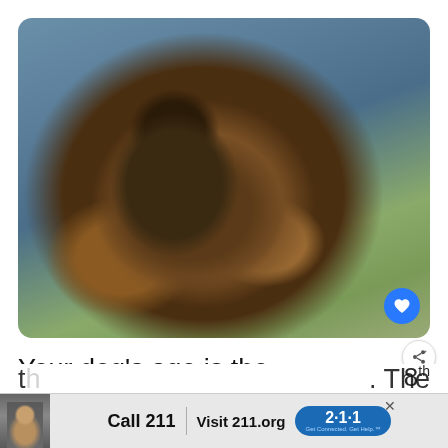[Figure (photo): A fluffy Tibetan Mastiff puppy with dark brown and tan fur sitting against a blurred outdoor background with blue-grey sky and green foliage]
Your dog’s age is the most important indicator of how much its size increase. If your Tibetan Mastiff is less
[Figure (other): WHAT'S NEXT arrow callout with thumbnail image and text 'How To Get Rid Of Bees...']
[Figure (other): Advertisement banner: Call 211 | Visit 211.org with 2·1·1 badge logo, featuring a photo of an elderly man]